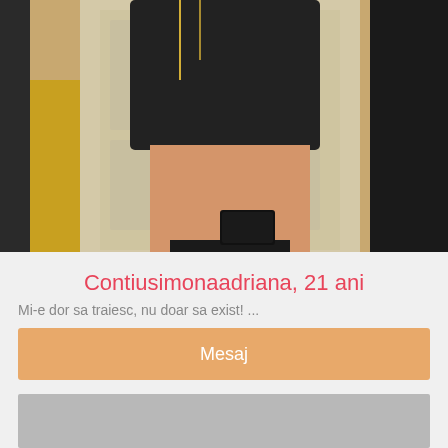[Figure (photo): A person in a black outfit taking a mirror selfie, showing legs and holding a phone/remote. Background shows a white door. Cropped at top.]
Contiusimonaadriana, 21 ani
Mi-e dor sa traiesc, nu doar sa exist! ...
[Figure (other): Orange/tan colored button labeled Mesaj]
[Figure (photo): Gray placeholder image area at the bottom of the page]